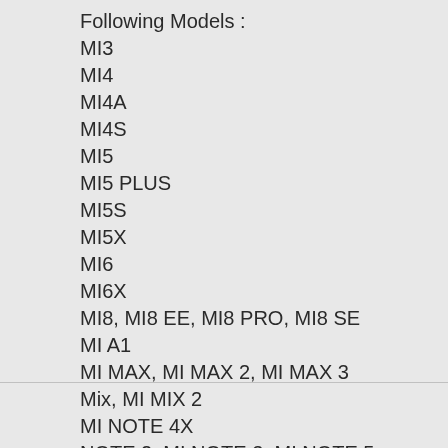Following Models :
MI3
MI4
MI4A
MI4S
MI5
MI5 PLUS
MI5S
MI5X
MI6
MI6X
MI8, MI8 EE, MI8 PRO, MI8 SE
MI A1
MI MAX, MI MAX 2, MI MAX 3
Mix, MI MIX 2
MI NOTE 4X
NOTE 2, MI NOTE 3, MI NOTE 5
MI Y1
REDMI 3 PR, 3S/3X, 4 PRIM, 4, 4X
5, 5A
REDMI 5 PLU, 5X
6 PRO